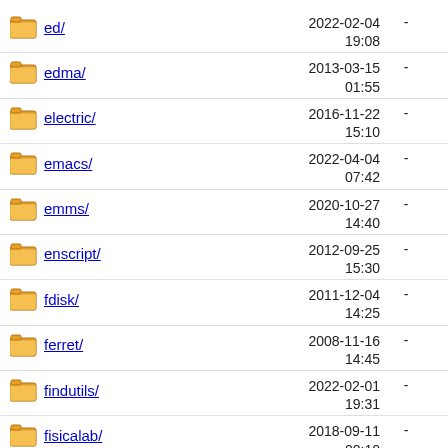ed/ 2022-02-04 19:08 -
edma/ 2013-03-15 01:55 -
electric/ 2016-11-22 15:10 -
emacs/ 2022-04-04 07:42 -
emms/ 2020-10-27 14:40 -
enscript/ 2012-09-25 15:30 -
fdisk/ 2011-12-04 14:25 -
ferret/ 2008-11-16 14:45 -
findutils/ 2022-02-01 19:31 -
fisicalab/ 2018-09-11 00:10 -
flex/ 2007-03-20 10:36 -